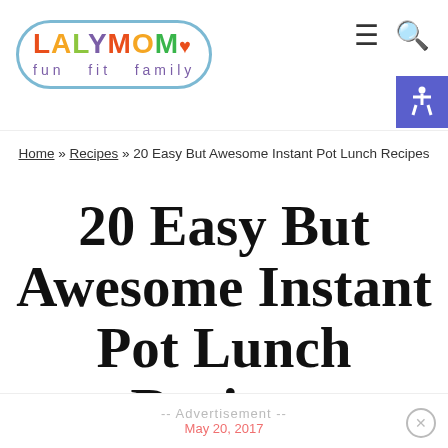[Figure (logo): LALYMOM fun fit family logo in colorful text with rounded rectangle border]
Home » Recipes » 20 Easy But Awesome Instant Pot Lunch Recipes
20 Easy But Awesome Instant Pot Lunch Recipes
-- Advertisement -- May 20, 2017